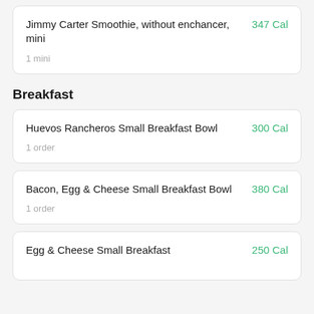Jimmy Carter Smoothie, without enchancer, mini — 347 Cal — 1 mini
Breakfast
Huevos Rancheros Small Breakfast Bowl — 300 Cal — 1 order
Bacon, Egg & Cheese Small Breakfast Bowl — 380 Cal — 1 order
Egg & Cheese Small Breakfast — 250 Cal